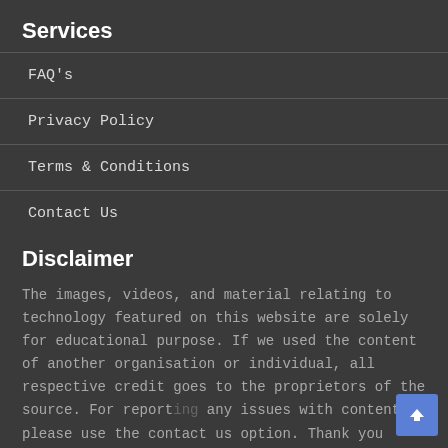Services
FAQ's
Privacy Policy
Terms & Conditions
Contact Us
Disclaimer
The images, videos, and material relating to technology featured on this website are solely for educational purpose. If we used the content of another organisation or individual, all respective credit goes to the proprietors of the source. For reporting any issues with content, please use the contact us option. Thank you